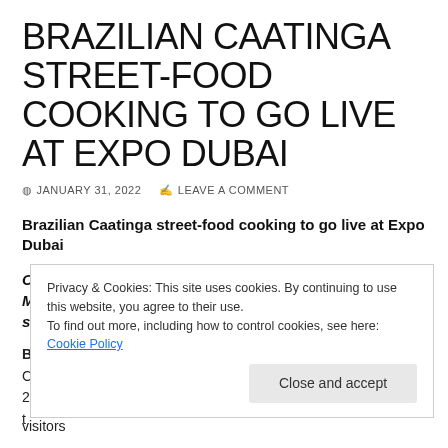BRAZILIAN CAATINGA STREET-FOOD COOKING TO GO LIVE AT EXPO DUBAI
JANUARY 31, 2022   LEAVE A COMMENT
Brazilian Caatinga street-food cooking to go live at Expo Dubai
Chef Rodrigo Oliviera, named 'Bib Gourmand' by Michelin Guide, will lead the third live cooking show in a series of six by different biomes.
Privacy & Cookies: This site uses cookies. By continuing to use this website, you agree to their use.
To find out more, including how to control cookies, see here: Cookie Policy
Close and accept
visitors